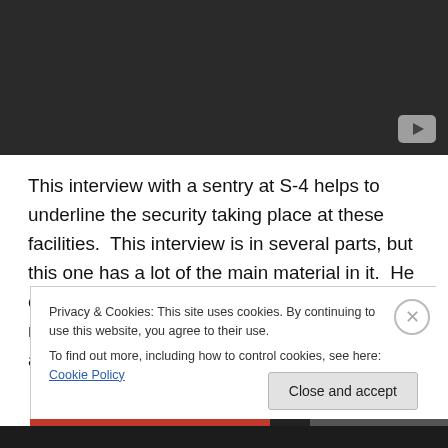[Figure (screenshot): Dark video thumbnail/player area with a YouTube-style play button icon in the bottom right corner]
This interview with a sentry at S-4 helps to underline the security taking place at these facilities.  This interview is in several parts, but this one has a lot of the main material in it.  He explains the level of security exercised.  Like many who have come forward, he died not long after this video
Privacy & Cookies: This site uses cookies. By continuing to use this website, you agree to their use.
To find out more, including how to control cookies, see here: Cookie Policy
Close and accept